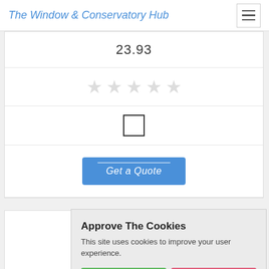The Window & Conservatory Hub
23.93
[Figure (other): Five empty star rating icons (all grey/unfilled)]
[Figure (other): An unchecked checkbox (empty square)]
Get a Quote
A & D Builde...
Unit 6, Belfont Trading Estat...
West Midland...
Approve The Cookies
This site uses cookies to improve your user experience.
Accept
Decline
Cookie policy